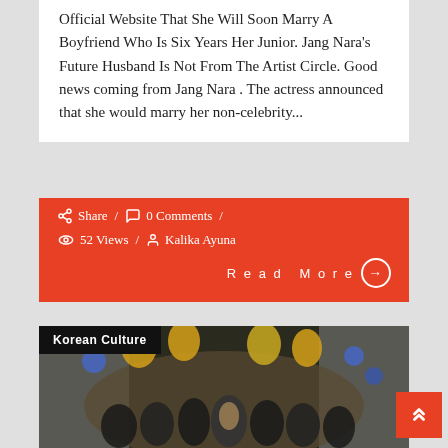Official Website That She Will Soon Marry A Boyfriend Who Is Six Years Her Junior. Jang Nara's Future Husband Is Not From The Artist Circle. Good news coming from Jang Nara . The actress announced that she would marry her non-celebrity...
Share / 0 Comments / 52 Views / Kalika Ayuna
Read More →
[Figure (photo): Korean Culture section header with photo of a K-pop group (several young women) posing in front of silver curtain backdrop with gold balloon letters and blue balloons]